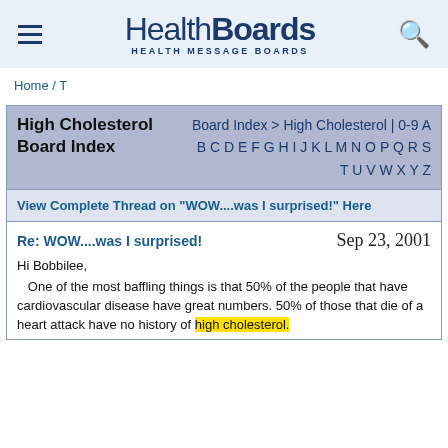HealthBoards — HEALTH MESSAGE BOARDS
Home / T
High Cholesterol Board Index
Board Index > High Cholesterol | 0-9 A B C D E F G H I J K L M N O P Q R S T U V W X Y Z
View Complete Thread on "WOW....was I surprised!" Here
Re: WOW....was I surprised!    Sep 23, 2001
Hi Bobbilee,
   One of the most baffling things is that 50% of the people that have cardiovascular disease have great numbers. 50% of those that die of a heart attack have no history of high cholesterol.